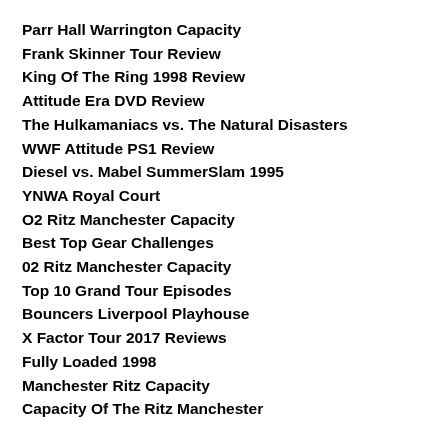Parr Hall Warrington Capacity
Frank Skinner Tour Review
King Of The Ring 1998 Review
Attitude Era DVD Review
The Hulkamaniacs vs. The Natural Disasters
WWF Attitude PS1 Review
Diesel vs. Mabel SummerSlam 1995
YNWA Royal Court
O2 Ritz Manchester Capacity
Best Top Gear Challenges
02 Ritz Manchester Capacity
Top 10 Grand Tour Episodes
Bouncers Liverpool Playhouse
X Factor Tour 2017 Reviews
Fully Loaded 1998
Manchester Ritz Capacity
Capacity Of The Ritz Manchester